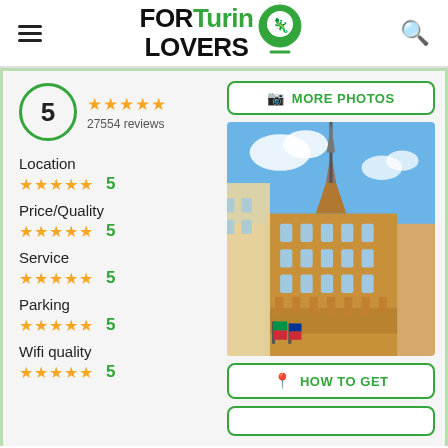FOR Turin LOVERS
5 ★★★★★ 27554 reviews
Location ★★★★★ 5
Price/Quality ★★★★★ 5
Service ★★★★★ 5
Parking ★★★★★ 5
Wifi quality ★★★★★ 5
[Figure (photo): Photo of a large ornate building (Mole Antonelliana in Turin) with a tall spire, photographed from below against a blue sky]
MORE PHOTOS
HOW TO GET